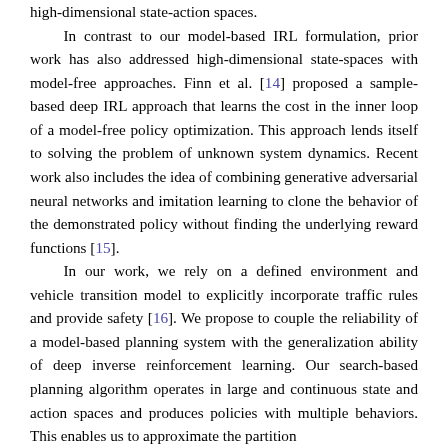high-dimensional state-action spaces.

In contrast to our model-based IRL formulation, prior work has also addressed high-dimensional state-spaces with model-free approaches. Finn et al. [14] proposed a sample-based deep IRL approach that learns the cost in the inner loop of a model-free policy optimization. This approach lends itself to solving the problem of unknown system dynamics. Recent work also includes the idea of combining generative adversarial neural networks and imitation learning to clone the behavior of the demonstrated policy without finding the underlying reward functions [15].

In our work, we rely on a defined environment and vehicle transition model to explicitly incorporate traffic rules and provide safety [16]. We propose to couple the reliability of a model-based planning system with the generalization ability of deep inverse reinforcement learning. Our search-based planning algorithm operates in large and continuous state and action spaces and produces policies with multiple behaviors. This enables us to approximate the partition